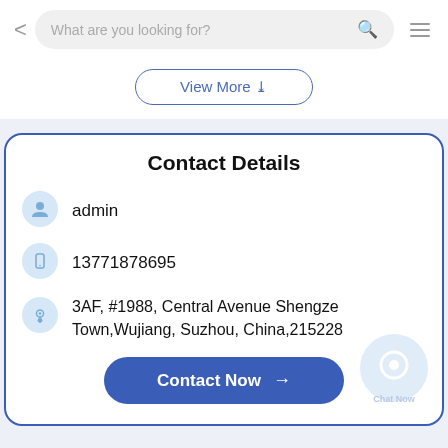What are you looking for?
View More
Contact Details
admin
13771878695
3AF, #1988, Central Avenue Shengze Town,Wujiang, Suzhou, China,215228
Contact Now →